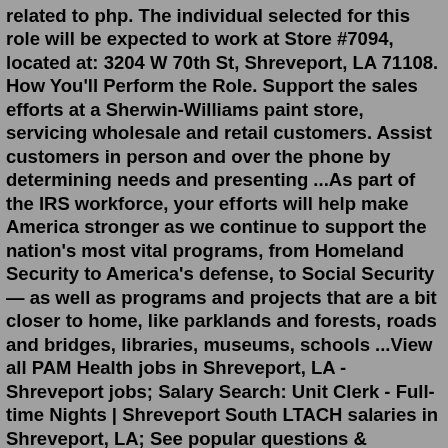related to php. The individual selected for this role will be expected to work at Store #7094, located at: 3204 W 70th St, Shreveport, LA 71108. How You'll Perform the Role. Support the sales efforts at a Sherwin-Williams paint store, servicing wholesale and retail customers. Assist customers in person and over the phone by determining needs and presenting ...As part of the IRS workforce, your efforts will help make America stronger as we continue to support the nation's most vital programs, from Homeland Security to America's defense, to Social Security — as well as programs and projects that are a bit closer to home, like parklands and forests, roads and bridges, libraries, museums, schools ...View all PAM Health jobs in Shreveport, LA - Shreveport jobs; Salary Search: Unit Clerk - Full-time Nights | Shreveport South LTACH salaries in Shreveport, LA; See popular questions & answers about PAM Health Job email alerts. Free, fast and easy way find a job of 1.907.000+ postings in Shreveport, LA and other big cities in USA. Amazon jobs in Shreveport, LA. Find.